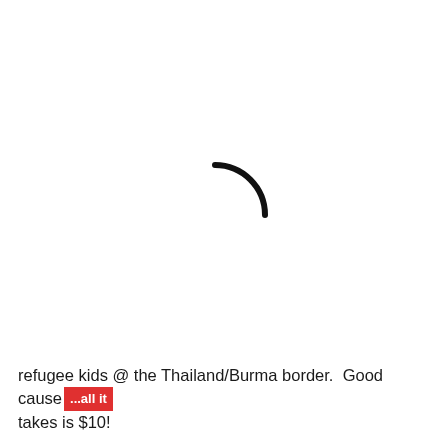[Figure (other): A loading spinner arc (partial circle, top-right quadrant, black stroke on white background), indicating a page or image that is still loading.]
refugee kids @ the Thailand/Burma border.  Good cause...all it takes is $10!